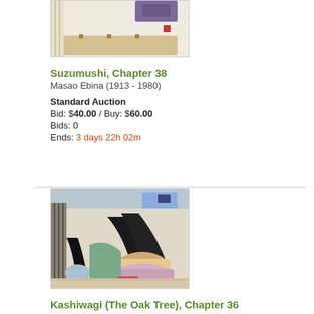[Figure (illustration): Japanese woodblock print showing a figure playing a stringed instrument (koto/zither), partial top crop]
Suzumushi, Chapter 38
Masao Ebina (1913 - 1980)
Standard Auction
Bid: $40.00 / Buy: $60.00
Bids: 0
Ends: 3 days 22h 02m
[Figure (illustration): Japanese woodblock print showing two women with long black hair in traditional interior setting]
Kashiwagi (The Oak Tree), Chapter 36
Masao Ebina (1913 - 1980)